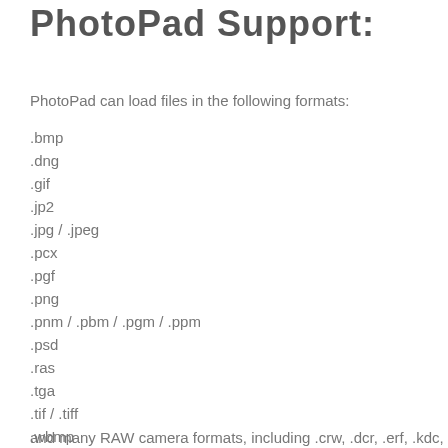PhotoPad Support:
PhotoPad can load files in the following formats:
.bmp
.dng
.gif
.jp2
.jpg / .jpeg
.pcx
.pgf
.png
.pnm / .pbm / .pgm / .ppm
.psd
.ras
.tga
.tif / .tiff
.wbmp
and many RAW camera formats, including .crw, .dcr, .erf, .kdc,